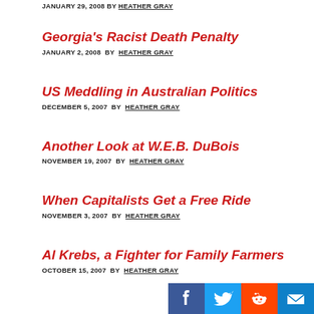JANUARY 29, 2008 BY HEATHER GRAY
Georgia's Racist Death Penalty
JANUARY 2, 2008 BY HEATHER GRAY
US Meddling in Australian Politics
DECEMBER 5, 2007 BY HEATHER GRAY
Another Look at W.E.B. DuBois
NOVEMBER 19, 2007 BY HEATHER GRAY
When Capitalists Get a Free Ride
NOVEMBER 3, 2007 BY HEATHER GRAY
Al Krebs, a Fighter for Family Farmers
OCTOBER 15, 2007 BY HEATHER GRAY